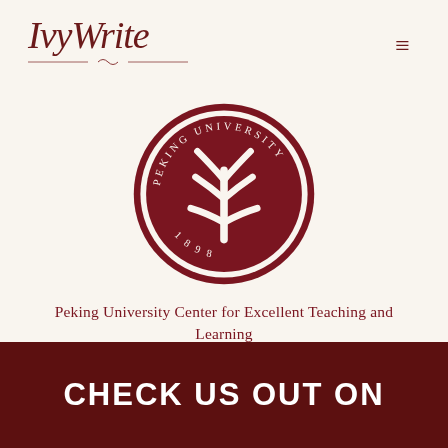IvyWrite
[Figure (logo): Peking University seal/logo: circular dark red emblem with stylized tree symbol and text 'PEKING UNIVERSITY 1898' around the border]
Peking University Center for Excellent Teaching and Learning
CHECK US OUT ON